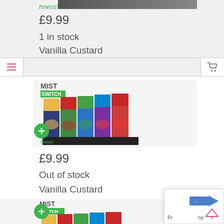hness!
£9.99
1 in stock
Vanilla Custard
[Figure (photo): MIST Switch product packaging showing multiple flavors in a row]
£9.99
Out of stock
Vanilla Custard
[Figure (photo): MIST Switch product packaging showing multiple flavors in a row]
[Figure (screenshot): Bottom right popup UI element with arrow icon and partial text Pr...ns]